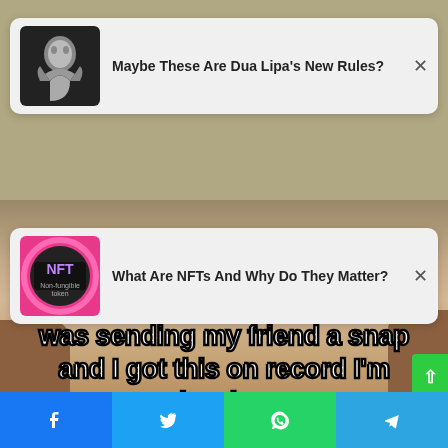[Figure (screenshot): Notification card: thumbnail of woman in black and white photo, text 'Maybe These Are Dua Lipa's New Rules?' with X close button]
[Figure (screenshot): Notification card: thumbnail of NFT non-fungible token image, text 'What Are NFTs And Why Do They Matter?' with X close button]
[Figure (photo): Meme image: person looking upward with dramatic false eyelashes, text overlay reading 'was sending my friend a snap and I got this on record I'm leaving' with partial text 'nt on tinder date and' visible behind notification]
[Figure (infographic): Social share bar at bottom with Facebook, Twitter, WhatsApp, and Telegram icons]